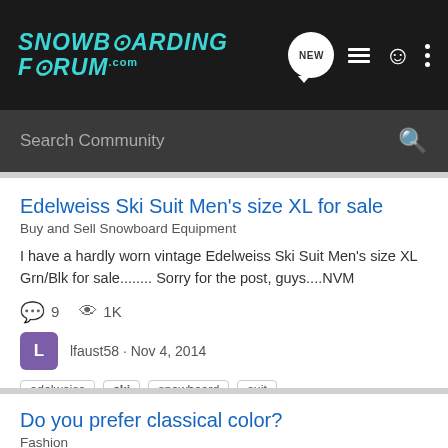SNOWBOARDING FORUM.com
Search Community
Edelweiss Ski Suit Men's size XL for sale
Buy and Sell Snowboard Equipment
I have a hardly worn vintage Edelweiss Ski Suit Men's size XL Grn/Blk for sale........ Sorry for the post, guys....NVM
9  1K
lfaust58 · Nov 4, 2014
edelweiss  ski  snowboard  suit
Do you prefer classical color?
Fashion
:thumbsup: Do you prefer classical colours? | Skier outfits | Pinterest...